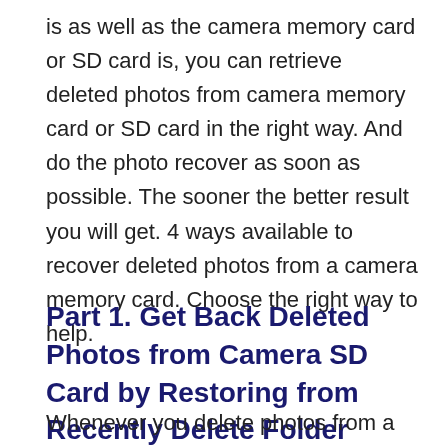is as well as the camera memory card or SD card is, you can retrieve deleted photos from camera memory card or SD card in the right way. And do the photo recover as soon as possible. The sooner the better result you will get. 4 ways available to recover deleted photos from a camera memory card. Choose the right way to help.
Part 1. Get Back Deleted Photos from Camera SD Card by Restoring from Recently Delete Folder
Whenever you delete photos from a camera memory card or SD card on your camera, all the